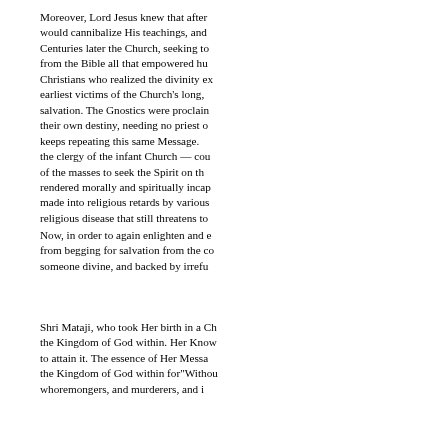Moreover, Lord Jesus knew that after would cannibalize His teachings, and Centuries later the Church, seeking to from the Bible all that empowered hu Christians who realized the divinity ex earliest victims of the Church's long, salvation. The Gnostics were proclain their own destiny, needing no priest o keeps repeating this same Message. the clergy of the infant Church — cou of the masses to seek the Spirit on th rendered morally and spiritually incap made into religious retards by various religious disease that still threatens to
Now, in order to again enlighten and from begging for salvation from the co someone divine, and backed by irrefu
Shri Mataji, who took Her birth in a Ch the Kingdom of God within. Her Know to attain it. The essence of Her Messa the Kingdom of God within for"Withou whoremongers, and murderers, and i